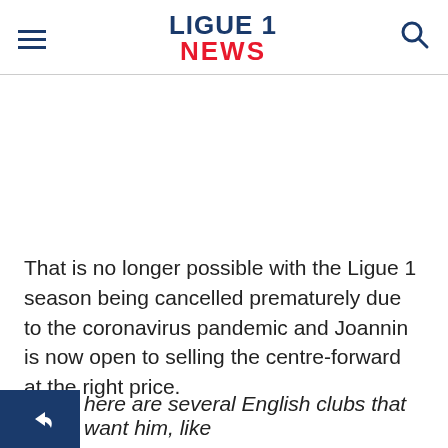LIGUE 1 NEWS
That is no longer possible with the Ligue 1 season being cancelled prematurely due to the coronavirus pandemic and Joannin is now open to selling the centre-forward at the right price.
here are several English clubs that want him, like